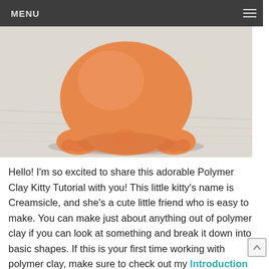MENU
[Figure (photo): Close-up photo of orange polymer clay shaped into a cat figure sitting on a light wooden surface, showing the bottom and paws of the clay kitty.]
Hello! I'm so excited to share this adorable Polymer Clay Kitty Tutorial with you! This little kitty's name is Creamsicle, and she's a cute little friend who is easy to make. You can make just about anything out of polymer clay if you can look at something and break it down into basic shapes. If this is your first time working with polymer clay, make sure to check out my Introduction to Polymer Clay post for some basics! Let's get started!